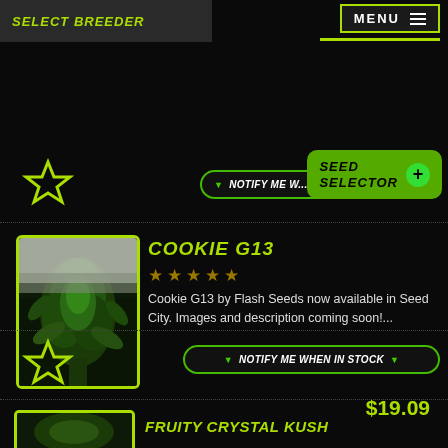SELECT BREEDER
MENU
[Figure (illustration): Green outlined star icon (favorite/wishlist button)]
Notify me w...
SEED SELECTOR +
[Figure (photo): Cannabis plant with dense green buds close-up photo]
COOKIE G13
5 star rating (empty stars shown)
Cookie G13 by Flash Seeds now available in Seed City. Images and description coming soon!...
$19.09
[Figure (illustration): Green outlined star icon (favorite/wishlist button) - second item]
NOTIFY ME WHEN IN STOCK
FRUITY CRYSTAL KUSH